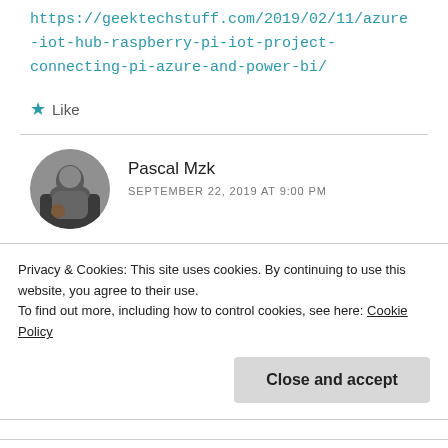https://geektechstuff.com/2019/02/11/azure-iot-hub-raspberry-pi-iot-project-connecting-pi-azure-and-power-bi/
★ Like
Pascal Mzk
SEPTEMBER 22, 2019 AT 9:00 PM
I followed your instructions and when i go to querry (to
Privacy & Cookies: This site uses cookies. By continuing to use this website, you agree to their use.
To find out more, including how to control cookies, see here: Cookie Policy
Close and accept